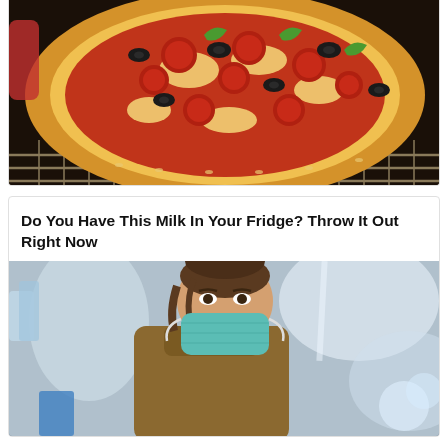[Figure (photo): A pepperoni pizza with black olives and green peppers on an oven rack, partially cropped at top]
Do You Have This Milk In Your Fridge? Throw It Out Right Now
[Figure (photo): A woman wearing a teal/green surgical face mask in what appears to be a grocery store or shopping area, with blurred background lights]